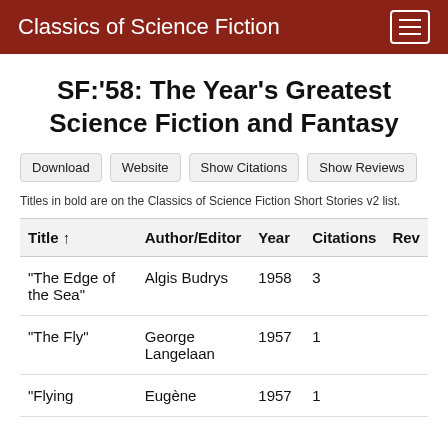Classics of Science Fiction
SF:'58: The Year's Greatest Science Fiction and Fantasy
Download
Website
Show Citations
Show Reviews
Titles in bold are on the Classics of Science Fiction Short Stories v2 list.
| Title ↑ | Author/Editor | Year | Citations | Rev |
| --- | --- | --- | --- | --- |
| "The Edge of the Sea" | Algis Budrys | 1958 | 3 |  |
| "The Fly" | George Langelaan | 1957 | 1 |  |
| "Flying | Eugène | 1957 | 1 |  |